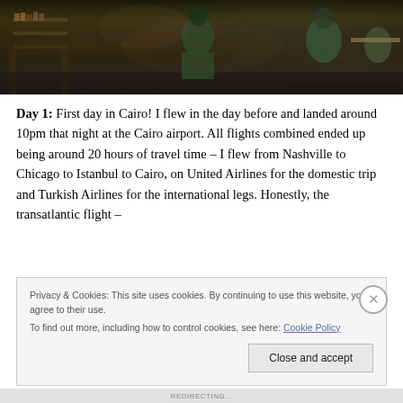[Figure (photo): Dark nighttime photo of a Cairo market/bazaar scene with people and stalls visible]
Day 1: First day in Cairo! I flew in the day before and landed around 10pm that night at the Cairo airport. All flights combined ended up being around 20 hours of travel time – I flew from Nashville to Chicago to Istanbul to Cairo, on United Airlines for the domestic trip and Turkish Airlines for the international legs. Honestly, the transatlantic flight –
Privacy & Cookies: This site uses cookies. By continuing to use this website, you agree to their use.
To find out more, including how to control cookies, see here: Cookie Policy
REDIRECTING...